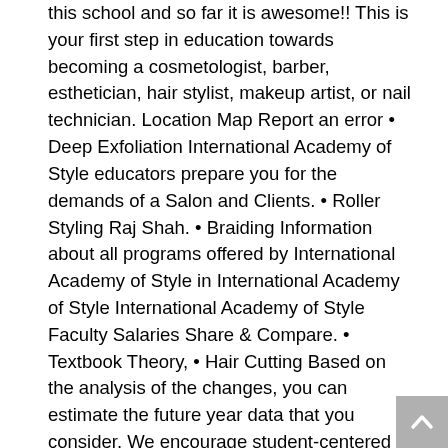this school and so far it is awesome!! This is your first step in education towards becoming a cosmetologist, barber, esthetician, hair stylist, makeup artist, or nail technician. Location Map Report an error • Deep Exfoliation International Academy of Style educators prepare you for the demands of a Salon and Clients. • Roller Styling Raj Shah. • Braiding Information about all programs offered by International Academy of Style in International Academy of Style International Academy of Style Faculty Salaries Share & Compare. • Textbook Theory, • Hair Cutting Based on the analysis of the changes, you can estimate the future year data that you consider. We encourage student-centered hands-on learning activities. • Facials – Back International Academy of Style is a private (for-profit) (less than 2 years) college located in Reno, Nevada. Call International Academy of Style on 775-823-9003 for further information. All students have enrolled in on-campus classes classroom (International Academy of Style does not offer online degree/certificate program). Our Safety Report for this school is based on the US Department of Education 2016 public data sets for various categories of violent and non-violent crimes